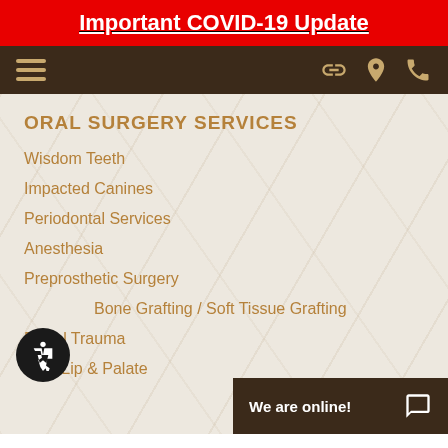Important COVID-19 Update
[Figure (screenshot): Dark brown navigation bar with hamburger menu on left and icons (chain link, location pin, phone) on right]
ORAL SURGERY SERVICES
Wisdom Teeth
Impacted Canines
Periodontal Services
Anesthesia
Preprosthetic Surgery
Bone Grafting / Soft Tissue Grafting
Facial Trauma
Cleft Lip & Palate
We are online!